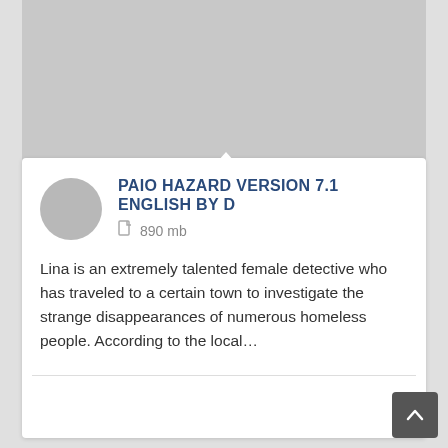[Figure (photo): Gray placeholder image area at top of page]
PAIO HAZARD VERSION 7.1 ENGLISH BY D
890 mb
Lina is an extremely talented female detective who has traveled to a certain town to investigate the strange disappearances of numerous homeless people. According to the local...